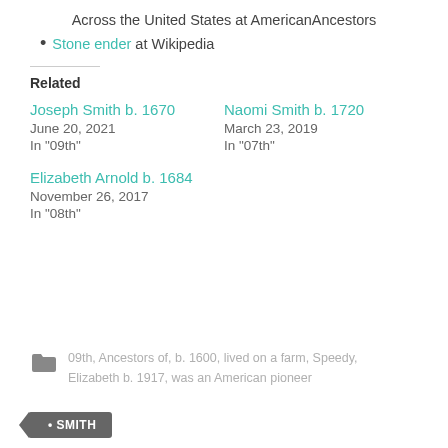Across the United States at AmericanAncestors
Stone ender at Wikipedia
Related
Joseph Smith b. 1670
June 20, 2021
In "09th"
Naomi Smith b. 1720
March 23, 2019
In "07th"
Elizabeth Arnold b. 1684
November 26, 2017
In "08th"
09th, Ancestors of, b. 1600, lived on a farm, Speedy, Elizabeth b. 1917, was an American pioneer
• SMITH